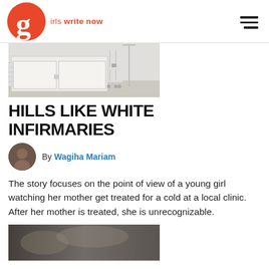girls write now
[Figure (photo): Medical clinic room showing white cabinets and a wheeled medical cart/stand]
HILLS LIKE WHITE INFIRMARIES
By Wagiha Mariam
The story focuses on the point of view of a young girl watching her mother get treated for a cold at a local clinic. After her mother is treated, she is unrecognizable.
[Figure (photo): Partial view of a second image at the bottom of the page]